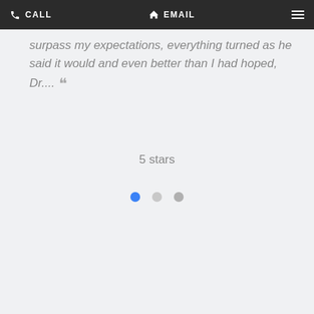CALL  EMAIL
surpass my expectations, everything turned as he said it would and even better than I had hoped, Dr...."
5 stars
[Figure (other): Carousel navigation dots: one blue filled dot, one medium gray dot, one light gray dot]